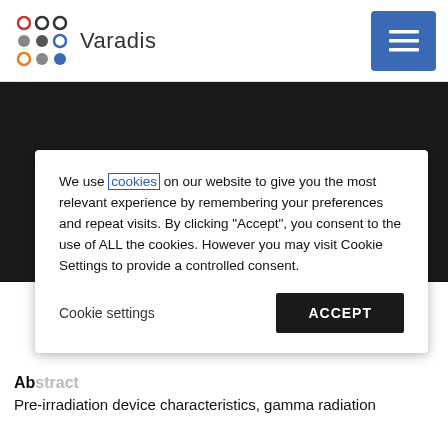Varadis
NUCLEAR INST. AND METHODS IN PHYSICS
We use cookies on our website to give you the most relevant experience by remembering your preferences and repeat visits. By clicking "Accept", you consent to the use of ALL the cookies. However you may visit Cookie Settings to provide a controlled consent.
Cookie settings   ACCEPT
Abstract
Pre-irradiation device characteristics, gamma radiation